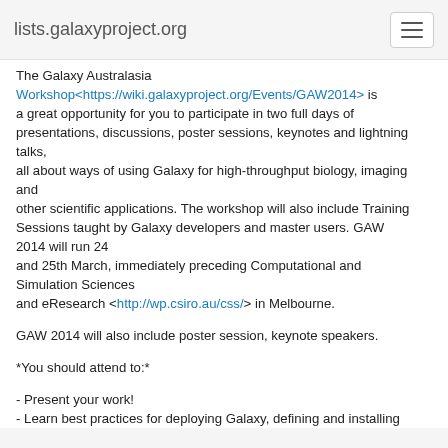lists.galaxyproject.org
The Galaxy Australasia Workshop<https://wiki.galaxyproject.org/Events/GAW2014> is a great opportunity for you to participate in two full days of presentations, discussions, poster sessions, keynotes and lightning talks, all about ways of using Galaxy for high-throughput biology, imaging and other scientific applications. The workshop will also include Training Sessions taught by Galaxy developers and master users. GAW 2014 will run 24 and 25th March, immediately preceding Computational and Simulation Sciences and eResearch <http://wp.csiro.au/css/> in Melbourne.
GAW 2014 will also include poster session, keynote speakers.
*You should attend to:*
- Present your work!
- Learn best practices for deploying Galaxy, defining and installing